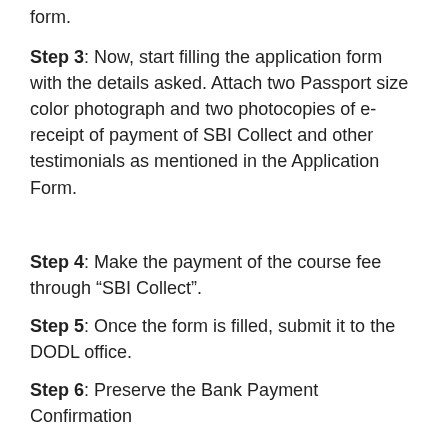form.
Step 3: Now, start filling the application form with the details asked. Attach two Passport size color photograph and two photocopies of e-receipt of payment of SBI Collect and other testimonials as mentioned in the Application Form.
Step 4: Make the payment of the course fee through “SBI Collect”.
Step 5: Once the form is filled, submit it to the DODL office.
Step 6: Preserve the Bank Payment Confirmation